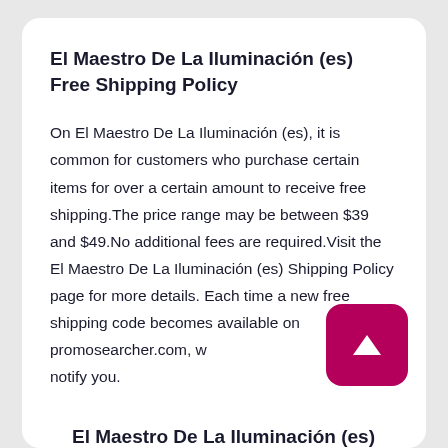El Maestro De La Iluminación (es) Free Shipping Policy
On El Maestro De La Iluminación (es), it is common for customers who purchase certain items for over a certain amount to receive free shipping.The price range may be between $39 and $49.No additional fees are required.Visit the El Maestro De La Iluminación (es) Shipping Policy page for more details. Each time a new free shipping code becomes available on promosearcher.com, we will notify you.
El Maestro De La Iluminación (es)